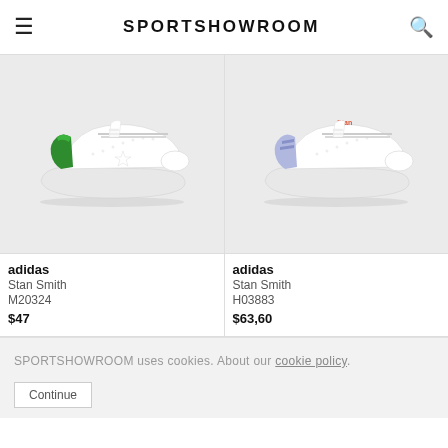SPORTSHOWROOM
[Figure (photo): Adidas Stan Smith sneaker with green heel tab, white leather upper, side profile on light gray background]
[Figure (photo): Adidas Stan Smith sneaker with light purple/blue heel tab and red text detail, white leather upper, side profile on light gray background]
adidas
Stan Smith
M20324
$47
adidas
Stan Smith
H03883
$63,60
SPORTSHOWROOM uses cookies. About our cookie policy.
Continue